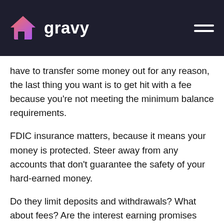[Figure (logo): Gravy logo with house icon and brand name in white on dark navy header bar with hamburger menu icon]
have to transfer some money out for any reason, the last thing you want is to get hit with a fee because you’re not meeting the minimum balance requirements.
FDIC insurance matters, because it means your money is protected. Steer away from any accounts that don’t guarantee the safety of your hard-earned money.
Do they limit deposits and withdrawals? What about fees? Are the interest earning promises legit? Some of the fine print for high interest savings accounts includes requirements that make it hard to actually earn the interest rates advertised.